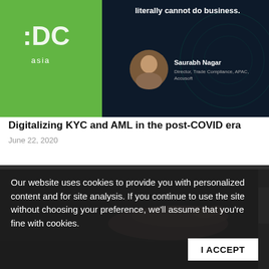[Figure (screenshot): Dark background conference/webinar slide with DC Asia logo on left (green background), text 'literally cannot do business.' at top, and a headshot of Saurabh Nagar, Director Trade Compliance APAC, Accusoft on the right side]
Digitalizing KYC and AML in the post-COVID era
June 22, 2020
[Figure (photo): Dark photo showing a hand touching or swiping a dark surface, close-up shot]
Our website uses cookies to provide you with personalized content and for site analysis. If you continue to use the site without choosing your preference, we'll assume that you're fine with cookies.
I ACCEPT